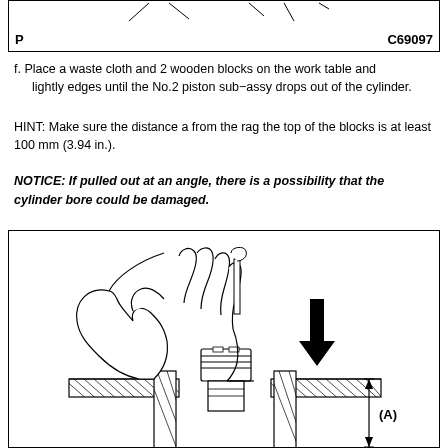[Figure (engineering-diagram): Top diagram showing piston sub-assy removal with wooden blocks, partial view, labeled P and C69097]
f. Place a waste cloth and 2 wooden blocks on the work table and lightly edges until the No.2 piston sub-assy drops out of the cylinder.
HINT: Make sure the distance a from the rag the top of the blocks is at least 100 mm (3.94 in.).
NOTICE: If pulled out at an angle, there is a possibility that the cylinder bore could be damaged.
[Figure (engineering-diagram): Diagram showing hand pressing piston sub-assy into cylinder bore with downward arrow and dimension label (A) indicating depth]